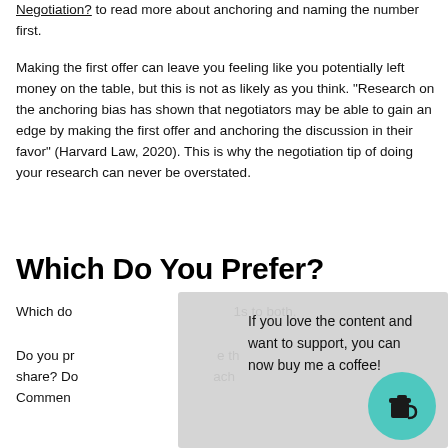Negotiation? to read more about anchoring and naming the number first.
Making the first offer can leave you feeling like you potentially left money on the table, but this is not as likely as you think. “Research on the anchoring bias has shown that negotiators may be able to gain an edge by making the first offer and anchoring the discussion in their favor” (Harvard Law, 2020). This is why the negotiation tip of doing your research can never be overstated.
Which Do You Prefer?
Which do                                                    1s to both.
Do you pr                                                  e th share? Do                                                ach Commen
If you love the content and want to support, you can now buy me a coffee!